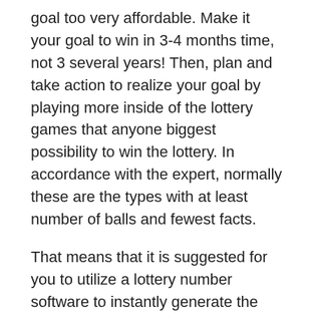goal too very affordable. Make it your goal to win in 3-4 months time, not 3 several years! Then, plan and take action to realize your goal by playing more inside of the lottery games that anyone biggest possibility to win the lottery. In accordance with the expert, normally these are the types with at least number of balls and fewest facts.
That means that it is suggested for you to utilize a lottery number software to instantly generate the frequency of in the marketplace winning count. A lottery prediction software will allow you to speed up your lottery number selection because you may instantly discover the hot, cold, or overdue numbers to execute.
Paying off all of one's debts on the of the priorities upon receiving lottery winning. Truly include while not limited to credit card due, mortgage, college tuition,